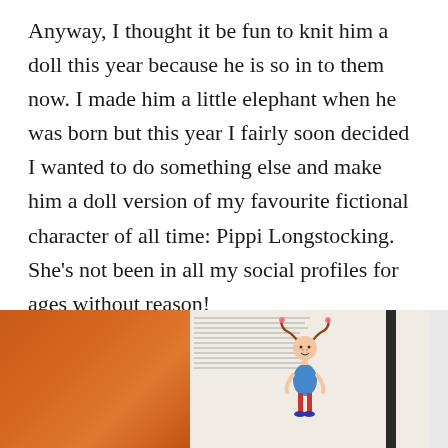Anyway, I thought it be fun to knit him a doll this year because he is so in to them now. I made him a little elephant when he was born but this year I fairly soon decided I wanted to do something else and make him a doll version of my favourite fictional character of all time: Pippi Longstocking. She’s not been in all my social profiles for ages without reason!
[Figure (photo): Photo showing orange knitted yarn/wool on the left side and a children's book open to an illustrated page featuring Pippi Longstocking character on the right side. A grey scroll-to-top button is visible on the far right edge.]